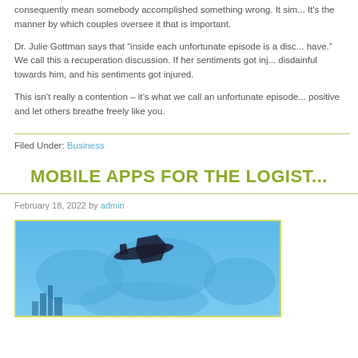consequently mean somebody accomplished something wrong. It sim... It's the manner by which couples oversee it that is important.
Dr. Julie Gottman says that “inside each unfortunate episode is a disc... have.” We call this a recuperation discussion. If her sentiments got inj... disdainful towards him, and his sentiments got injured.
This isn’t really a contention – it’s what we call an unfortunate episode... positive and let others breathe freely like you.
Filed Under: Business
MOBILE APPS FOR THE LOGIST...
February 18, 2022 by admin
[Figure (photo): Airplane flying over a world map background with blue sky, logistics/aviation themed image]